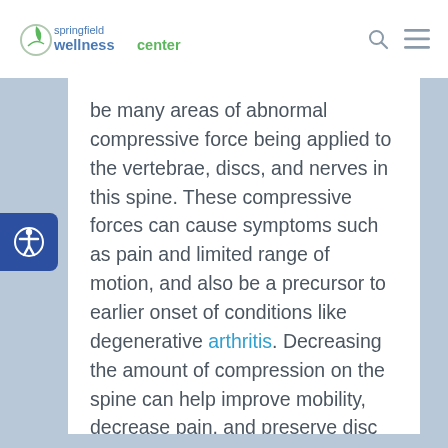Springfield Wellness Center
be many areas of abnormal compressive force being applied to the vertebrae, discs, and nerves in this spine. These compressive forces can cause symptoms such as pain and limited range of motion, and also be a precursor to earlier onset of conditions like degenerative arthritis. Decreasing the amount of compression on the spine can help improve mobility, decrease pain, and preserve disc integrity. At our office, we accomplish this through spinal decompression.